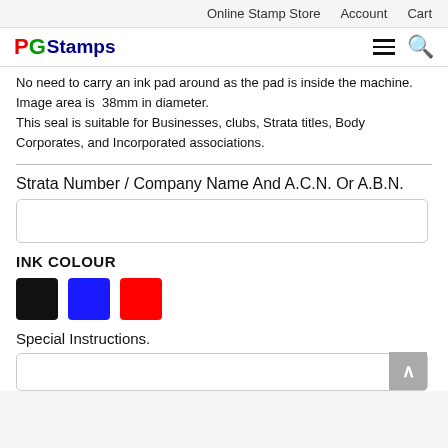Online Stamp Store   Account   Cart
[Figure (logo): PGStamps logo with PG in red and green letters and Stamps in dark blue]
No need to carry an ink pad around as the pad is inside the machine. Image area is 38mm in diameter. This seal is suitable for Businesses, clubs, Strata titles, Body Corporates, and Incorporated associations.
Strata Number / Company Name And A.C.N. Or A.B.N.
INK COLOUR
[Figure (infographic): Three colour swatches: black, blue, red]
Special Instructions.